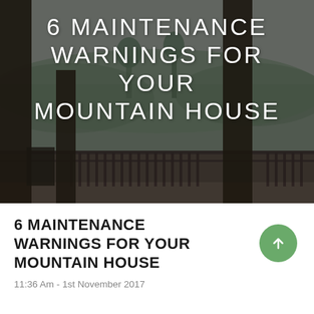[Figure (photo): A mountain house porch/deck with dark wooden columns and railings, misty mountain forest in the background, chairs visible on the deck, overcast/rainy atmosphere]
6 MAINTENANCE WARNINGS FOR YOUR MOUNTAIN HOUSE
6 MAINTENANCE WARNINGS FOR YOUR MOUNTAIN HOUSE
11:36 Am - 1st November 2017